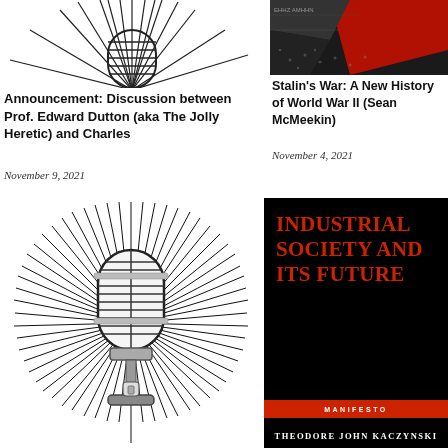[Figure (illustration): Partial illustration of a vintage microphone with radiating lines, cropped at top]
Announcement: Discussion between Prof. Edward Dutton (aka The Jolly Heretic) and Charles
November 9, 2021
[Figure (photo): Book cover or image related to Stalin's War with red and dark tones, partially cropped]
Stalin's War: A New History of World War II (Sean McMeekin)
November 4, 2021
[Figure (illustration): Vintage retro microphone illustration with radiating sunburst lines in black and white]
[Figure (illustration): Book cover: Industrial Society and Its Future, Manifesto, by Theodore John Kaczynski. Black background with red title text.]